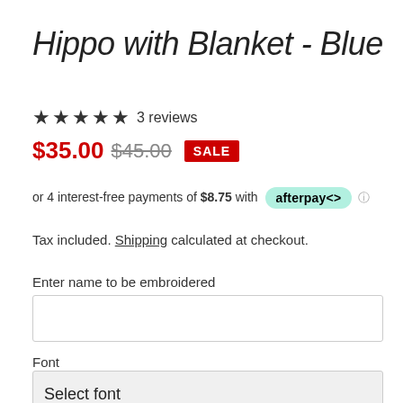Hippo with Blanket - Blue
★★★★★ 3 reviews
$35.00  $45.00  SALE
or 4 interest-free payments of $8.75 with afterpay ⓘ
Tax included. Shipping calculated at checkout.
Enter name to be embroidered
Font
Select font